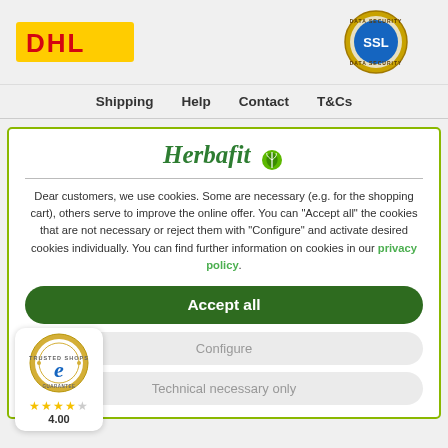[Figure (logo): DHL logo — yellow background with red DHL text]
[Figure (logo): SSL Data Security circular badge with blue SSL text]
Shipping    Help    Contact    T&Cs
[Figure (logo): Herbafit brand logo with green italic text and green leaf icon]
Dear customers, we use cookies. Some are necessary (e.g. for the shopping cart), others serve to improve the online offer. You can "Accept all" the cookies that are not necessary or reject them with "Configure" and activate desired cookies individually. You can find further information on cookies in our privacy policy.
Accept all
[Figure (logo): Trusted Shops e-guarantee circular badge with star rating 4.00]
Configure
Technical necessary only